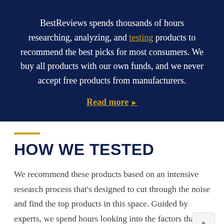BestReviews spends thousands of hours researching, analyzing, and testing products to recommend the best picks for most consumers. We buy all products with our own funds, and we never accept free products from manufacturers.
Read more ▶
HOW WE TESTED
We recommend these products based on an intensive research process that's designed to cut through the noise and find the top products in this space. Guided by experts, we spend hours looking into the factors that matter, to bring you these selections.